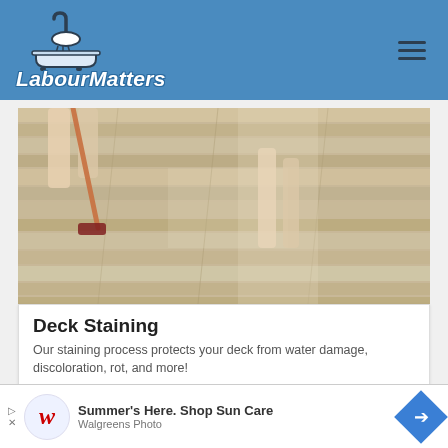[Figure (logo): LabourMatters website header with shower/bath logo icon and hamburger menu]
[Figure (photo): Person mopping or cleaning a wooden deck floor, seen from waist down, motion blur visible]
Deck Staining
Our staining process protects your deck from water damage, discoloration, rot, and more!
VISIT SITE
Ad
[Figure (photo): Bottom partial image of deck cleaning scene with second advertisement overlay]
50% Off Select Sun Care
Summer's Here. Shop Sun Care
Walgreens Photo